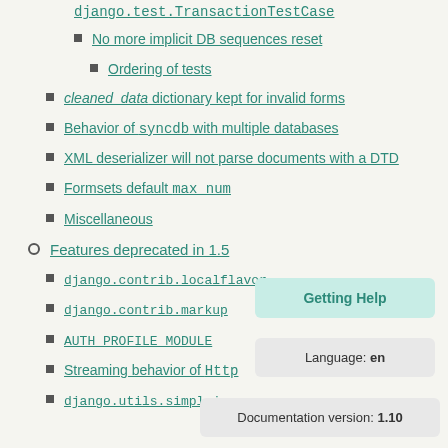Database flushing in django.test.TransactionTestCase
No more implicit DB sequences reset
Ordering of tests
cleaned_data dictionary kept for invalid forms
Behavior of syncdb with multiple databases
XML deserializer will not parse documents with a DTD
Formsets default max_num
Miscellaneous
Features deprecated in 1.5
django.contrib.localflavor
django.contrib.markup
AUTH_PROFILE_MODULE
Streaming behavior of Http
django.utils.simplejson
Getting Help
Language: en
Documentation version: 1.10